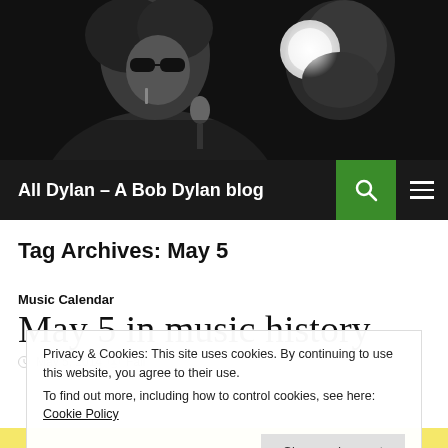[Figure (photo): Black and white photo of Bob Dylan with sunglasses at a microphone, with a photographer in background]
All Dylan – A Bob Dylan blog
Tag Archives: May 5
Music Calendar
May 5 in music history
May 5, 2014  Fall
Privacy & Cookies: This site uses cookies. By continuing to use this website, you agree to their use.
To find out more, including how to control cookies, see here: Cookie Policy
Close and accept